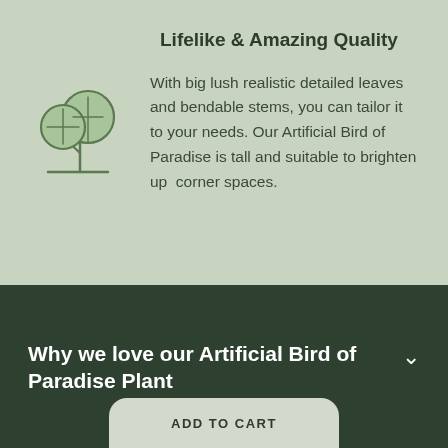Lifelike & Amazing Quality
[Figure (illustration): Simple line drawing of a tree with two rounded canopy sections and a trunk with a horizontal ground line, in green outline style]
With big lush realistic detailed leaves and bendable stems, you can tailor it to your needs. Our Artificial Bird of Paradise is tall and suitable to brighten up corner spaces.
Why we love our Artificial Bird of Paradise Plant
ADD TO CART